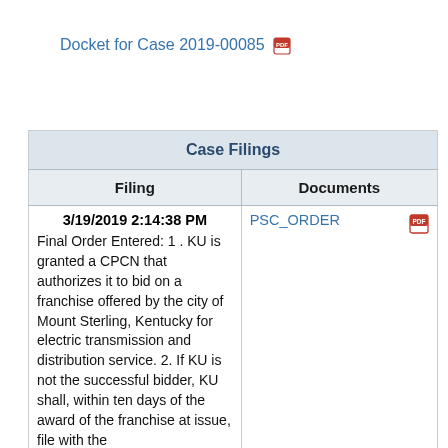Docket for Case 2019-00085 [PDF icon]
| Case Filings |  |
| --- | --- |
| Filing | Documents |
| 3/19/2019 2:14:38 PM
Final Order Entered: 1 . KU is granted a CPCN that authorizes it to bid on a franchise offered by the city of Mount Sterling, Kentucky for electric transmission and distribution service. 2. If KU is not the successful bidder, KU shall, within ten days of the award of the franchise at issue, file with the Commission a written notice | PSC_ORDER [PDF icon] |